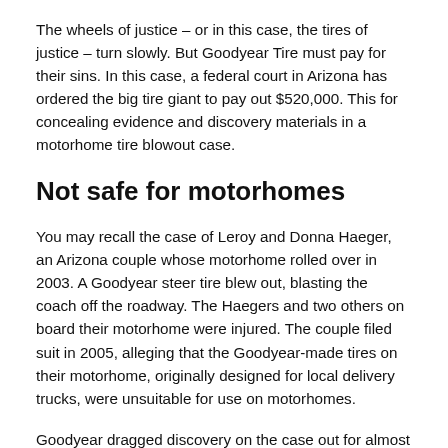The wheels of justice – or in this case, the tires of justice – turn slowly. But Goodyear Tire must pay for their sins. In this case, a federal court in Arizona has ordered the big tire giant to pay out $520,000. This for concealing evidence and discovery materials in a motorhome tire blowout case.
Not safe for motorhomes
You may recall the case of Leroy and Donna Haeger, an Arizona couple whose motorhome rolled over in 2003. A Goodyear steer tire blew out, blasting the coach off the roadway. The Haegers and two others on board their motorhome were injured. The couple filed suit in 2005, alleging that the Goodyear-made tires on their motorhome, originally designed for local delivery trucks, were unsuitable for use on motorhomes.
Goodyear dragged discovery on the case out for almost five long years. During that time, the attorneys for the Heagers had to force the tire firm back to court. Why? To get the company to turn over test information about the G159 tires in question. Just before the